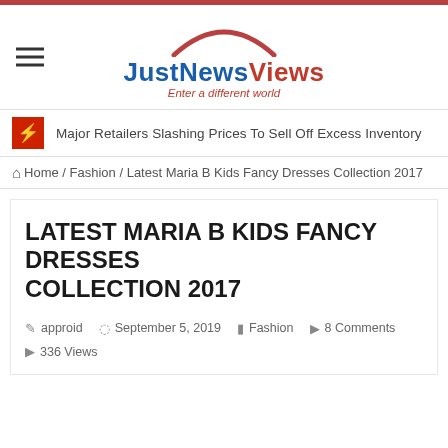JustNewsViews — Enter a different world
Major Retailers Slashing Prices To Sell Off Excess Inventory
Home / Fashion / Latest Maria B Kids Fancy Dresses Collection 2017
LATEST MARIA B KIDS FANCY DRESSES COLLECTION 2017
approid   September 5, 2019   Fashion   8 Comments   336 Views